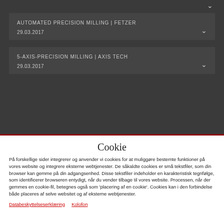AUTOMATED PRECISION MILLING | FETZER
29.03.2017
5-AXIS-PRECISION MILLING | AXIS TECH
29.03.2017
Cookie
På forskellige sider integrerer og anvender vi cookies for at muliggøre bestemte funktioner på vores website og integrere eksterne webtjenester. De såkaldte cookies er små tekstfiler, som din browser kan gemme på din adgangsenhed. Disse tekstfiler indeholder en karakteristisk tegnfølge, som identificerer browseren entydigt, når du vender tilbage til vores website. Processen, når der gemmes en cookie-fil, betegnes også som 'placering af en cookie'. Cookies kan i den forbindelse både placeres af selve websitet og af eksterne webtjenester.
Databeskyttelseserklæring   Kolofon